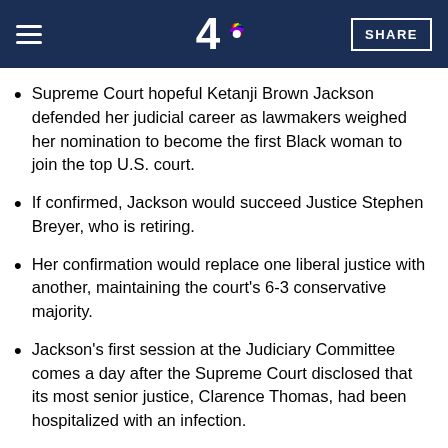NBC 4 | SHARE
Supreme Court hopeful Ketanji Brown Jackson defended her judicial career as lawmakers weighed her nomination to become the first Black woman to join the top U.S. court.
If confirmed, Jackson would succeed Justice Stephen Breyer, who is retiring.
Her confirmation would replace one liberal justice with another, maintaining the court's 6-3 conservative majority.
Jackson's first session at the Judiciary Committee comes a day after the Supreme Court disclosed that its most senior justice, Clarence Thomas, had been hospitalized with an infection.
Supreme Court hopeful Ketanji Brown Jackson defended her judicial career Monday as lawmakers weighed her